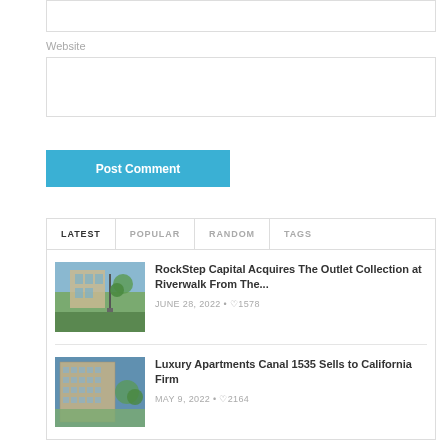Website
Post Comment
LATEST
POPULAR
RANDOM
TAGS
RockStep Capital Acquires The Outlet Collection at Riverwalk From The...
JUNE 28, 2022 • ♡1578
Luxury Apartments Canal 1535 Sells to California Firm
MAY 9, 2022 • ♡2164